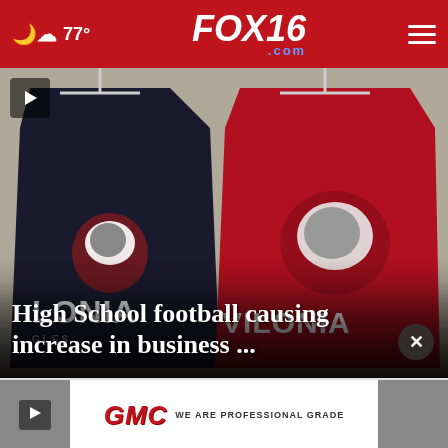FOX16.com — 77° weather — navigation menu
[Figure (photo): Two Vilonia Eagles t-shirts hanging on display — one black and one red — both showing an eagle logo and the word VILONIA]
High School football causing increase in business ...
[Figure (photo): GMC advertisement — WE ARE PROFESSIONAL GRADE — thumbnail strip at bottom of page]